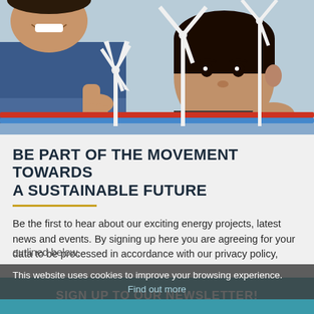[Figure (photo): Two children lying down and looking at small white wind turbine models on a table. One child in a dark jacket reaches toward a turbine, and another child faces the camera with turbines visible.]
BE PART OF THE MOVEMENT TOWARDS A SUSTAINABLE FUTURE
Be the first to hear about our exciting energy projects, latest news and events. By signing up here you are agreeing for your data to be processed in accordance with our privacy policy, outlined below.
This website uses cookies to improve your browsing experience.
Find out more
SIGN UP TO OUR NEWSLETTER!